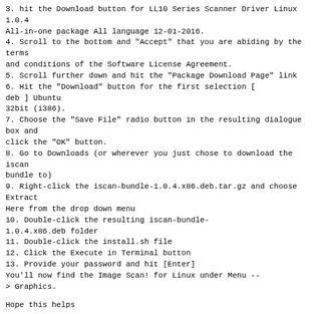3. hit the Download button for LL10 Series Scanner Driver Linux 1.0.4
All-in-one package All language 12-01-2016.
4. Scroll to the bottom and "Accept" that you are abiding by the terms
and conditions of the Software License Agreement.
5. Scroll further down and hit the "Package Download Page" link
6. Hit the "Download" button for the first selection [
deb ] Ubuntu
32bit (i386).
7. Choose the "Save File" radio button in the resulting dialogue box and
click the "OK" button.
8. Go to Downloads (or wherever you just chose to download the iscan
bundle to)
9. Right-click the iscan-bundle-1.0.4.x86.deb.tar.gz and choose Extract
Here from the drop down menu
10. Double-click the resulting iscan-bundle-
1.0.4.x86.deb folder
11. Double-click the install.sh file
12. Click the Execute in Terminal button
13. Provide your password and hit [Enter]
You'll now find the Image Scan! for Linux under Menu --
> Graphics.
Hope this helps